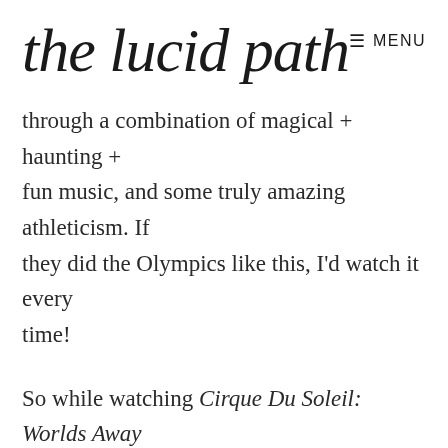the lucid path
through a combination of magical + haunting + fun music, and some truly amazing athleticism. If they did the Olympics like this, I'd watch it every time!
So while watching Cirque Du Soleil: Worlds Away the other night (aside: no plot, but mesmerising visuals), I was so impressed (as always) by how much precision was involved in the choreography, and yet, it was all executed so gracefully. When we